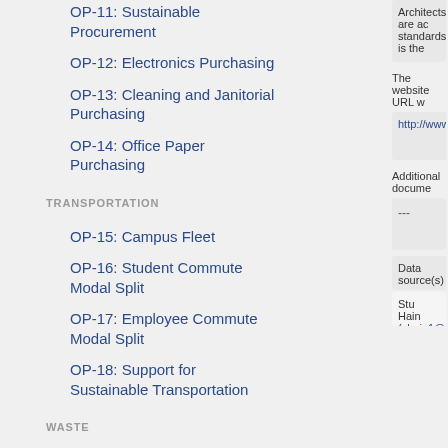OP-11: Sustainable Procurement
OP-12: Electronics Purchasing
OP-13: Cleaning and Janitorial Purchasing
OP-14: Office Paper Purchasing
TRANSPORTATION
OP-15: Campus Fleet
OP-16: Student Commute Modal Split
OP-17: Employee Commute Modal Split
OP-18: Support for Sustainable Transportation
WASTE
Architects are ac... standards is the...
The website URL w...
http://www.swa...
Additional docume...
---
Data source(s) a...
Stu Hain (chain1@...